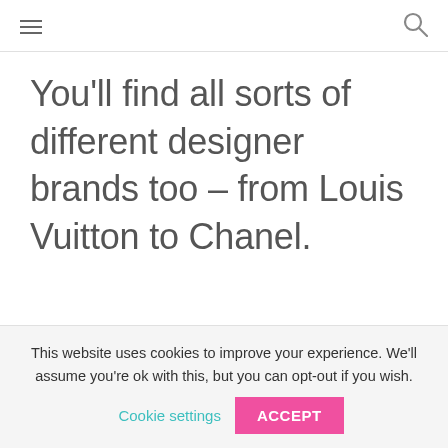[hamburger menu icon] [search icon]
You'll find all sorts of different designer brands too – from Louis Vuitton to Chanel.
This website uses cookies to improve your experience. We'll assume you're ok with this, but you can opt-out if you wish. Cookie settings ACCEPT